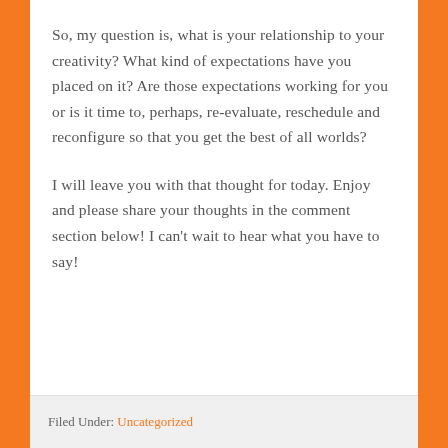So, my question is, what is your relationship to your creativity? What kind of expectations have you placed on it? Are those expectations working for you or is it time to, perhaps, re-evaluate, reschedule and reconfigure so that you get the best of all worlds?
I will leave you with that thought for today. Enjoy and please share your thoughts in the comment section below! I can't wait to hear what you have to say!
Filed Under: Uncategorized